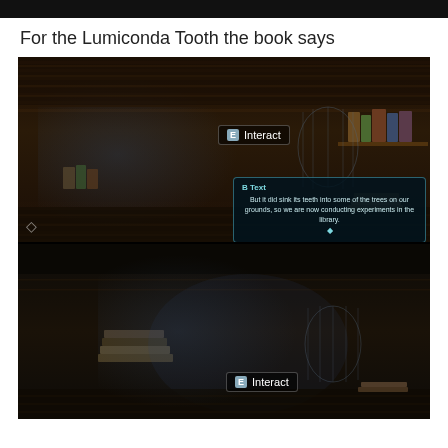[Figure (screenshot): Black top bar across the full width of the page]
For the Lumiconda Tooth the book says
[Figure (screenshot): Video game screenshot showing a character in a dark library/room setting. An 'Interact' badge is visible in the center-right. A dialog box shows 'B Text' title and text: 'But it did sink its teeth into some of the trees on our grounds, so we are now conducting experiments in the library.' with a diamond icon at the bottom.]
[Figure (screenshot): Second video game screenshot showing the same character scene from a slightly different angle or moment, with an 'Interact' badge visible at the bottom center-right area.]